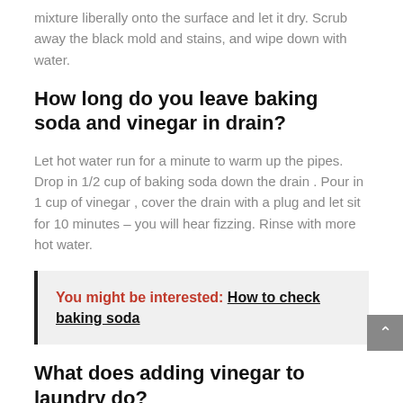mixture liberally onto the surface and let it dry. Scrub away the black mold and stains, and wipe down with water.
How long do you leave baking soda and vinegar in drain?
Let hot water run for a minute to warm up the pipes. Drop in 1/2 cup of baking soda down the drain . Pour in 1 cup of vinegar , cover the drain with a plug and let sit for 10 minutes – you will hear fizzing. Rinse with more hot water.
You might be interested: How to check baking soda
What does adding vinegar to laundry do?
Using inexpensive distilled white vinegar in laundry will whiten, brighten, reduce odor, and soften clothes without harsh chemicals. Vinegar is safe to use in both standard and high-efficiency washers and is beneficial to septic tanks